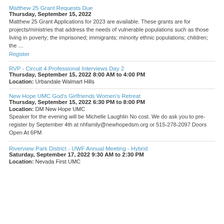Matthew 25 Grant Requests Due
Thursday, September 15, 2022
Matthew 25 Grant Applications for 2023 are available. These grants are for projects/ministries that address the needs of vulnerable populations such as those living in poverty; the imprisoned; immigrants; minority ethnic populations; children; the …
Register
RVP - Circuit 4 Professional Interviews Day 2
Thursday, September 15, 2022 8:00 AM to 4:00 PM
Location: Urbandale Walmart Hills
New Hope UMC God's Girlfriends Women's Retreat
Thursday, September 15, 2022 6:30 PM to 8:00 PM
Location: DM New Hope UMC
Speaker for the evening will be Michelle Laughlin No cost. We do ask you to pre-register by September 4th at nhfamily@newhopedsm.org or 515-278-2097 Doors Open At 6PM
Riverview Park District - UWF Annual Meeting - Hybrid
Saturday, September 17, 2022 9:30 AM to 2:30 PM
Location: Nevada First UMC